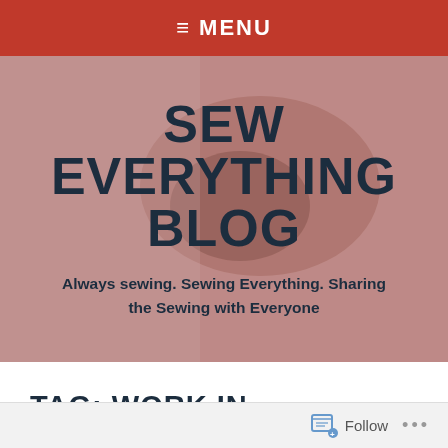≡ MENU
[Figure (photo): Hero banner with pink fabric and sewing machine background showing blog title and subtitle]
SEW EVERYTHING BLOG
Always sewing. Sewing Everything. Sharing the Sewing with Everyone
TAG: WORK IN PROGRESS
Follow ...